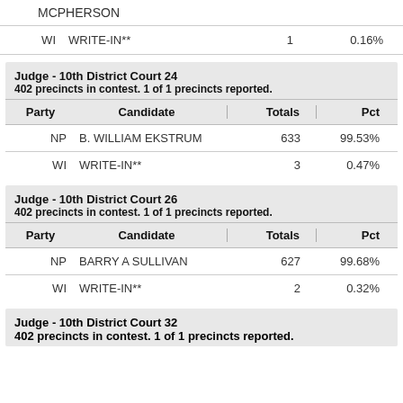MCPHERSON
| Party | Candidate | Totals | Pct |
| --- | --- | --- | --- |
| WI | WRITE-IN** | 1 | 0.16% |
Judge - 10th District Court 24
402 precincts in contest. 1 of 1 precincts reported.
| Party | Candidate | Totals | Pct |
| --- | --- | --- | --- |
| NP | B. WILLIAM EKSTRUM | 633 | 99.53% |
| WI | WRITE-IN** | 3 | 0.47% |
Judge - 10th District Court 26
402 precincts in contest. 1 of 1 precincts reported.
| Party | Candidate | Totals | Pct |
| --- | --- | --- | --- |
| NP | BARRY A SULLIVAN | 627 | 99.68% |
| WI | WRITE-IN** | 2 | 0.32% |
Judge - 10th District Court 32
402 precincts in contest. 1 of 1 precincts reported.